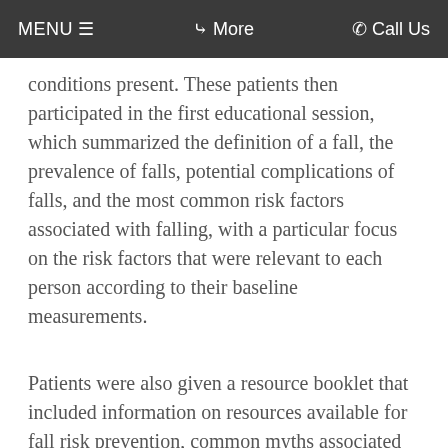MENU ≡   ❯ More   ☎ Call Us
conditions present. These patients then participated in the first educational session, which summarized the definition of a fall, the prevalence of falls, potential complications of falls, and the most common risk factors associated with falling, with a particular focus on the risk factors that were relevant to each person according to their baseline measurements.
Patients were also given a resource booklet that included information on resources available for fall risk prevention, common myths associated with falls, and a toolkit for preventing falls. Later, a second educational session was administered that